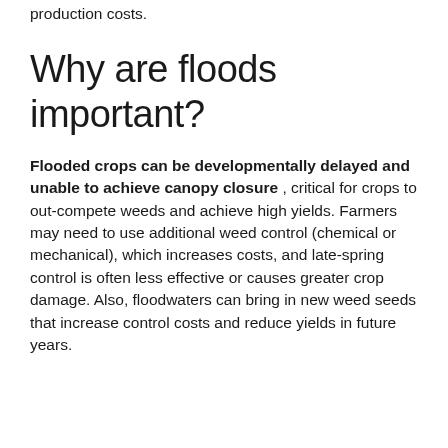production costs.
Why are floods important?
Flooded crops can be developmentally delayed and unable to achieve canopy closure , critical for crops to out-compete weeds and achieve high yields. Farmers may need to use additional weed control (chemical or mechanical), which increases costs, and late-spring control is often less effective or causes greater crop damage. Also, floodwaters can bring in new weed seeds that increase control costs and reduce yields in future years.